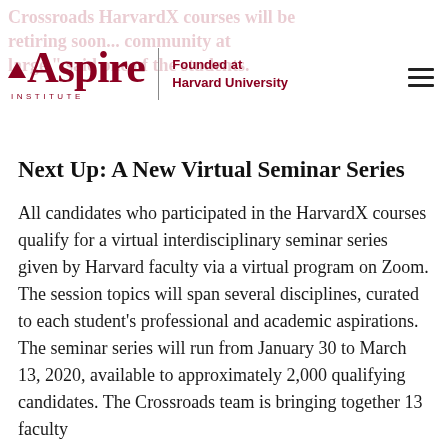Crossroads HarvardX courses will be retiring soon... community at large, said one of the students.
[Figure (logo): Aspire Institute logo with red triangle and text, Founded at Harvard University tagline, and hamburger menu icon]
Next Up: A New Virtual Seminar Series
All candidates who participated in the HarvardX courses qualify for a virtual interdisciplinary seminar series given by Harvard faculty via a virtual program on Zoom. The session topics will span several disciplines, curated to each student’s professional and academic aspirations. The seminar series will run from January 30 to March 13, 2020, available to approximately 2,000 qualifying candidates. The Crossroads team is bringing together 13 faculty